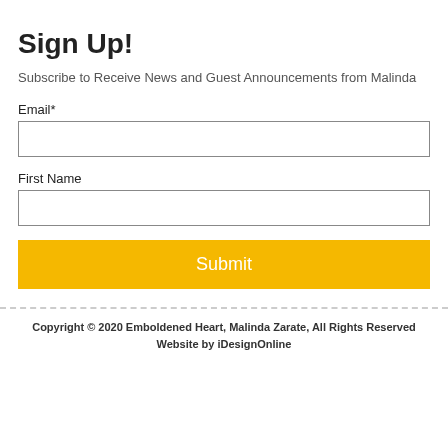Sign Up!
Subscribe to Receive News and Guest Announcements from Malinda
Email*
First Name
Submit
Copyright © 2020 Emboldened Heart, Malinda Zarate, All Rights Reserved
Website by iDesignOnline